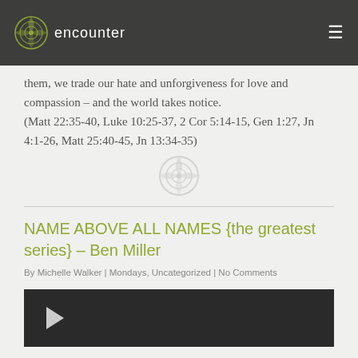encounter
them, we trade our hate and unforgiveness for love and compassion – and the world takes notice.
(Matt 22:35-40, Luke 10:25-37, 2 Cor 5:14-15, Gen 1:27, Jn 4:1-26, Matt 25:40-45, Jn 13:34-35)
[Figure (logo): Small decorative encounter logo icon watermark]
NAME ABOVE ALL NAMES {the greatest series} – Ben Miller
By Michelle Walker | Mondays, Uncategorized | No Comments
[Figure (screenshot): Dark video thumbnail with play button]